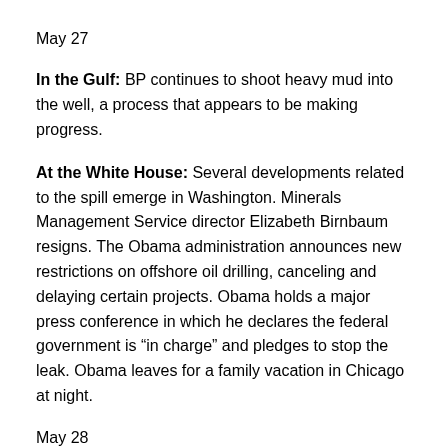May 27
In the Gulf: BP continues to shoot heavy mud into the well, a process that appears to be making progress.
At the White House: Several developments related to the spill emerge in Washington. Minerals Management Service director Elizabeth Birnbaum resigns. The Obama administration announces new restrictions on offshore oil drilling, canceling and delaying certain projects. Obama holds a major press conference in which he declares the federal government is “in charge” and pledges to stop the leak. Obama leaves for a family vacation in Chicago at night.
May 28
In the Gulf: BP continues to try the “top kill”